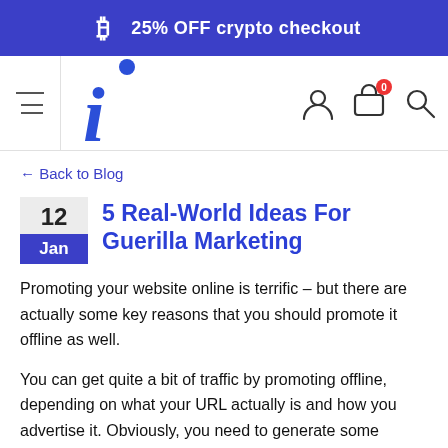25% OFF crypto checkout
[Figure (logo): Stylized italic letter i logo in blue]
← Back to Blog
5 Real-World Ideas For Guerilla Marketing
Promoting your website online is terrific – but there are actually some key reasons that you should promote it offline as well.
You can get quite a bit of traffic by promoting offline, depending on what your URL actually is and how you advertise it. Obviously, you need to generate some interest with the people that should be clicking your URL.